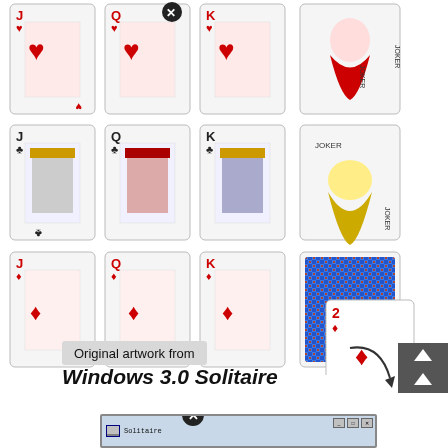[Figure (illustration): Playing cards from Windows 3.0 Solitaire: face cards (Jack, Queen, King) in hearts, clubs, diamonds, spades suits; two Joker cards; a card back design; and a 2 of diamonds card. Arranged in a 4x4 grid with some cells containing special cards.]
Original artwork from Windows 3.0 Solitaire
[Figure (screenshot): Small screenshot of Windows 3.0 Solitaire application window at the bottom of the page, partially visible.]